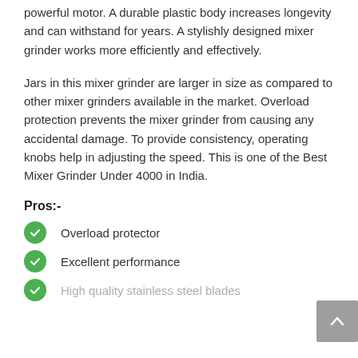powerful motor. A durable plastic body increases longevity and can withstand for years. A stylishly designed mixer grinder works more efficiently and effectively.
Jars in this mixer grinder are larger in size as compared to other mixer grinders available in the market. Overload protection prevents the mixer grinder from causing any accidental damage. To provide consistency, operating knobs help in adjusting the speed. This is one of the Best Mixer Grinder Under 4000 in India.
Pros:-
Overload protector
Excellent performance
High quality stainless steel blades